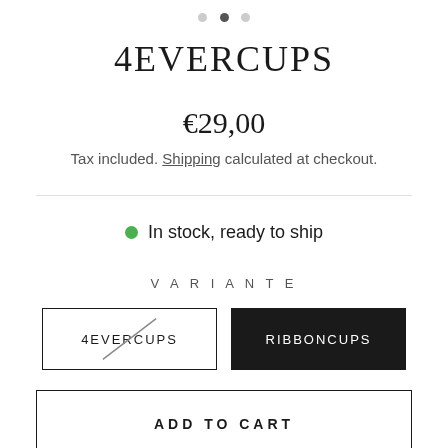[Figure (other): Carousel dot indicators: three dots, middle one active/dark]
4EVERCUPS
€29,00
Tax included. Shipping calculated at checkout.
In stock, ready to ship
VARIANTE
4EVERCUPS (variant button, crossed out)
RIBBONCUPS (variant button, selected)
ADD TO CART